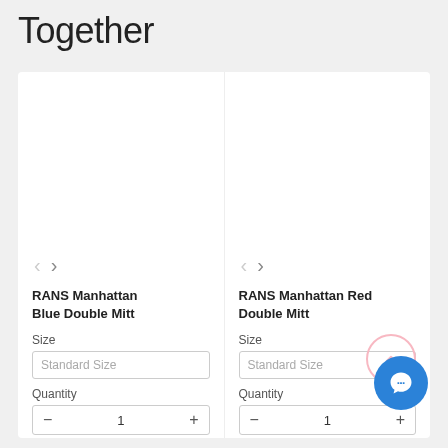Together
RANS Manhattan Blue Double Mitt
Size
Standard Size
Quantity
- 1 +
RANS Manhattan Red Double Mitt
Size
Standard Size
Quantity
- 1